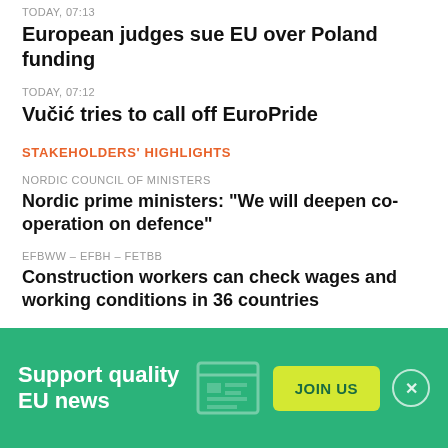TODAY, 07:13
European judges sue EU over Poland funding
TODAY, 07:12
Vučić tries to call off EuroPride
STAKEHOLDERS' HIGHLIGHTS
NORDIC COUNCIL OF MINISTERS
Nordic prime ministers: “We will deepen co-operation on defence”
EFBWW – EFBH – FETBB
Construction workers can check wages and working conditions in 36 countries
NORDIC COUNCIL OF MINISTERS
Nordic and Canadian ministers join forces to combat harmful content online
Support quality EU news